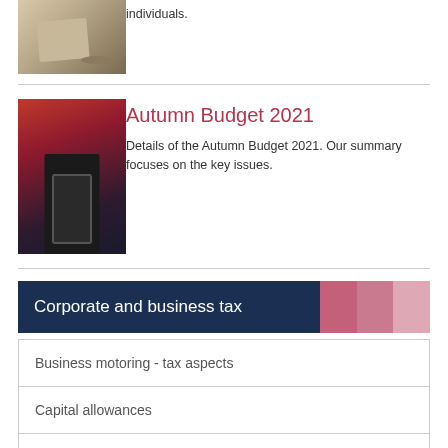[Figure (photo): Person writing or signing a document, partial view of hands and paper]
individuals.
[Figure (photo): Person in dark suit holding a briefcase against a red background]
Autumn Budget 2021
Details of the Autumn Budget 2021. Our summary focuses on the key issues.
Corporate and business tax
Business motoring - tax aspects
Capital allowances
Cash basis for the self-employed
Companies - tax saving opportunities